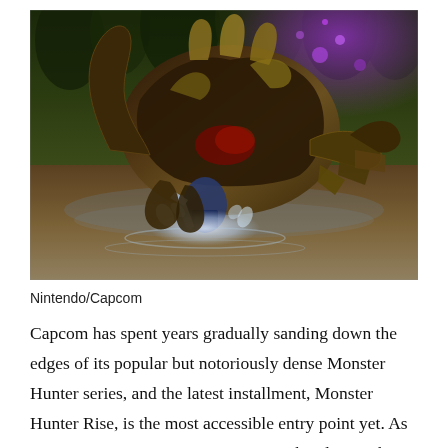[Figure (screenshot): Monster Hunter Rise game screenshot showing a large armored monster creature with curved horns and claws facing a hunter near a body of water, with a forest background and purple glow in the upper right]
Nintendo/Capcom
Capcom has spent years gradually sanding down the edges of its popular but notoriously dense Monster Hunter series, and the latest installment, Monster Hunter Rise, is the most accessible entry point yet. As in previous games, your mission is to band up with other hunters and take down fearsome monsters, using the materials you’ve gathered to forge